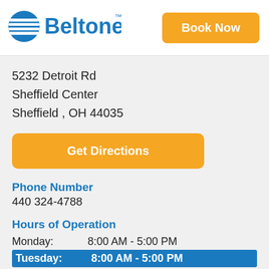[Figure (logo): Beltone logo with blue globe icon and blue Beltone wordmark with TM]
Book Now
5232 Detroit Rd
Sheffield Center
Sheffield , OH 44035
Get Directions
Phone Number
440 324-4788
Hours of Operation
| Day | Hours |
| --- | --- |
| Monday: | 8:00 AM - 5:00 PM |
| Tuesday: | 8:00 AM - 5:00 PM |
| Wednesday: | 8:00 AM - 5:00 PM |
| Thursday: | 8:00 AM - 5:00 PM |